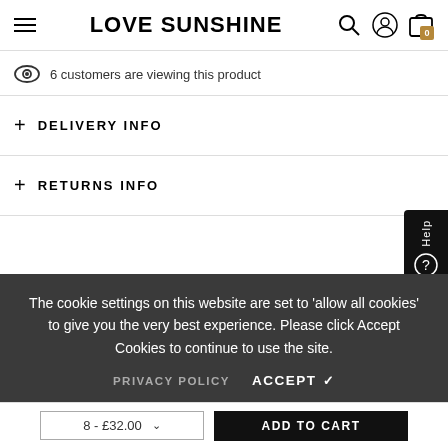LOVE SUNSHINE
6 customers are viewing this product
+ DELIVERY INFO
+ RETURNS INFO
The cookie settings on this website are set to 'allow all cookies' to give you the very best experience. Please click Accept Cookies to continue to use the site.
PRIVACY POLICY   ACCEPT ✓
8 - £32.00   ADD TO CART